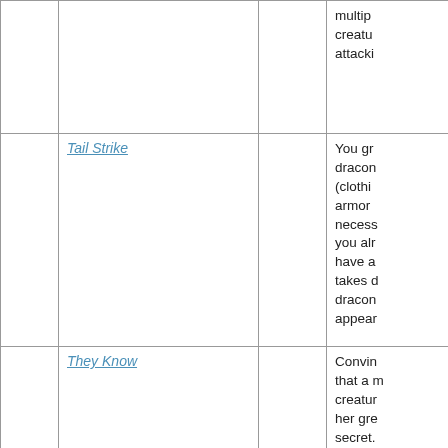|  |  |  | multip
creatu
attacki |
|  | Tail Strike |  | You gr
dracom
(clothi
armor 
necess
you alr
have a
takes d
dracom
appear |
|  | They Know |  | Convin
that a 
creatu
her gre
secret. |
|  | Trial By Fire |  | You te
creatu
of con
by exp
to a sh
di... |